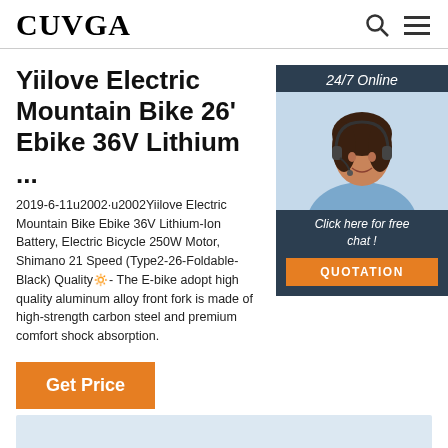CUVGA
[Figure (photo): Customer service representative with headset, 24/7 Online widget with 'Click here for free chat!' and QUOTATION button]
Yiilove Electric Mountain Bike 26' Ebike 36V Lithium ...
2019-6-11u2002·u2002Yiilove Electric Mountain Bike Ebike 36V Lithium-Ion Battery, Electric Bicycle 250W Motor, Shimano 21 Speed (Type2-26-Foldable-Black) Quality🔅- The E-bike adopt high quality aluminum alloy front fork is made of high-strength carbon steel and premium comfort shock absorption.
[Figure (illustration): Get Price orange button]
[Figure (other): Light blue-gray bottom area]